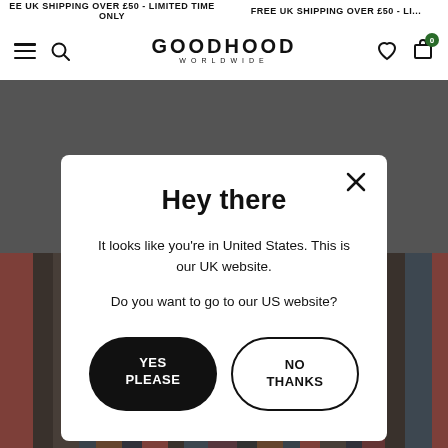FREE UK SHIPPING OVER £50 - LIMITED TIME ONLY
[Figure (screenshot): Goodhood Worldwide e-commerce website navigation bar with hamburger menu, search icon, Goodhood Worldwide logo, heart/wishlist icon, and shopping bag icon with 0 badge]
[Figure (photo): Background product photo showing multicoloured striped fabric/clothing with dark overlay]
Hey there
It looks like you're in United States. This is our UK website.
Do you want to go to our US website?
YES PLEASE
NO THANKS